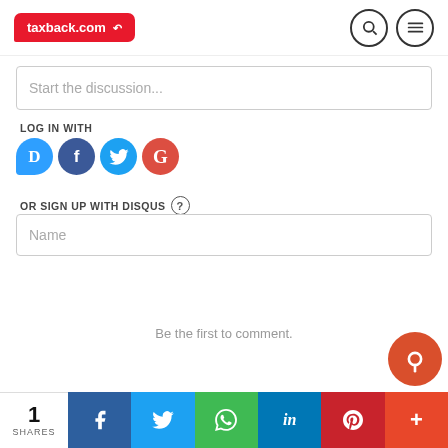taxback.com
Start the discussion...
LOG IN WITH
[Figure (screenshot): Social login icons: Disqus (blue), Facebook (dark blue), Twitter (light blue), Google (red)]
OR SIGN UP WITH DISQUS ?
Name
Be the first to comment.
[Figure (infographic): Social share bar at bottom: 1 SHARES, Facebook, Twitter, WhatsApp, LinkedIn, Pinterest, More buttons]